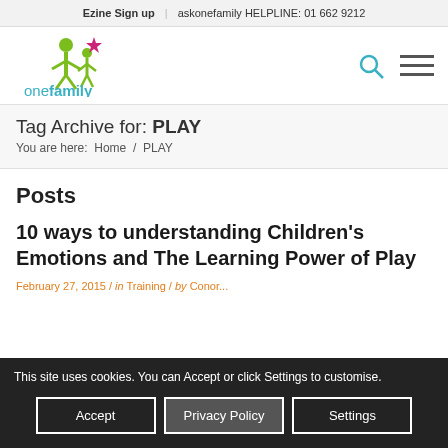Ezine Sign up | askonefamily HELPLINE: 01 662 9212
[Figure (logo): onefamily logo with green figure and pink star]
Tag Archive for: PLAY
You are here: Home / PLAY
Posts
10 ways to understanding Children's Emotions and The Learning Power of Play
February 27, 2015 / in Training / by Conor...
This site uses cookies. You can Accept or click Settings to customise.